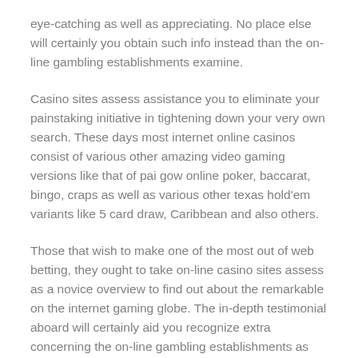eye-catching as well as appreciating. No place else will certainly you obtain such info instead than the on-line gambling establishments examine.
Casino sites assess assistance you to eliminate your painstaking initiative in tightening down your very own search. These days most internet online casinos consist of various other amazing video gaming versions like that of pai gow online poker, baccarat, bingo, craps as well as various other texas hold'em variants like 5 card draw, Caribbean and also others.
Those that wish to make one of the most out of web betting, they ought to take on-line casino sites assess as a novice overview to find out about the remarkable on the internet gaming globe. The in-depth testimonial aboard will certainly aid you recognize extra concerning the on-line gambling establishments as well as pick one legit website from the provided listings.